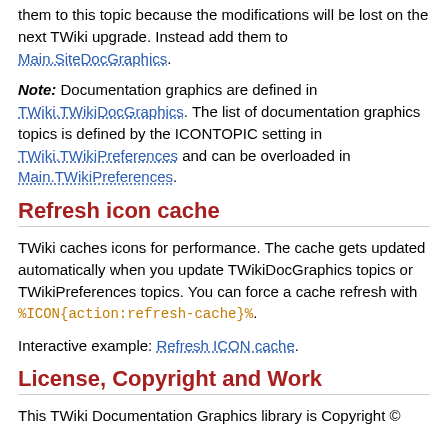them to this topic because the modifications will be lost on the next TWiki upgrade. Instead add them to Main.SiteDocGraphics.
Note: Documentation graphics are defined in TWiki.TWikiDocGraphics. The list of documentation graphics topics is defined by the ICONTOPIC setting in TWiki.TWikiPreferences and can be overloaded in Main.TWikiPreferences.
Refresh icon cache
TWiki caches icons for performance. The cache gets updated automatically when you update TWikiDocGraphics topics or TWikiPreferences topics. You can force a cache refresh with %ICON{action:refresh-cache}%.
Interactive example: Refresh ICON cache.
License, Copyright and Work
This TWiki Documentation Graphics library is Copyright ©